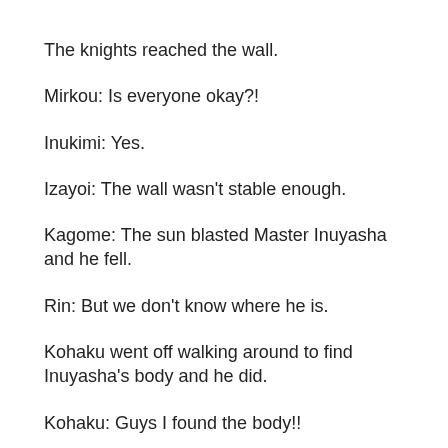The knights reached the wall.
Mirkou: Is everyone okay?!
Inukimi: Yes.
Izayoi: The wall wasn't stable enough.
Kagome: The sun blasted Master Inuyasha and he fell.
Rin: But we don't know where he is.
Kohaku went off walking around to find Inuyasha's body and he did.
Kohaku: Guys I found the body!!